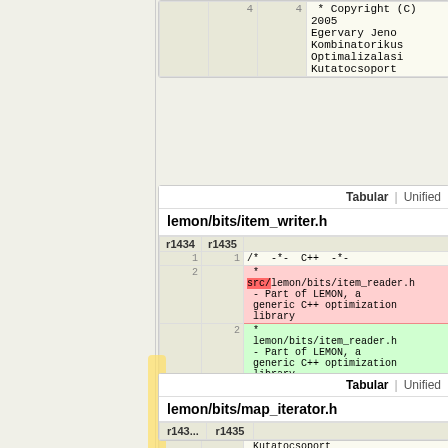|  | 4 | 4 |
| --- | --- | --- |
|  |  | * Copyright (C) 2005
Egervary Jeno
Kombinatorikus
Optimalizalasi
Kutatocsoport |
lemon/bits/item_writer.h
| r1434 | r1435 |  |
| --- | --- | --- |
| 1 | 1 | /*  -*-  C++  -*- |
| 2 |  |  *
 src/lemon/bits/item_reader.h
 - Part of LEMON, a
generic C++ optimization
library |
|  | 2 |  *
lemon/bits/item_reader.h
 - Part of LEMON, a
generic C++ optimization
library |
| 3 | 3 |  * |
| 4 | 4 |  * Copyright (C) 2005
Egervary Jeno
Kombinatorikus
Optimalizalasi
Kutatocsoport |
lemon/bits/map_iterator.h